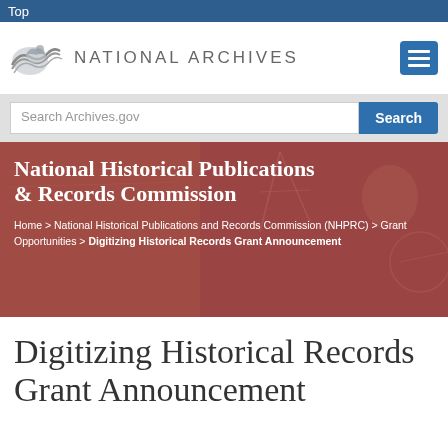Top
[Figure (logo): National Archives logo with wave/eagle graphic and text NATIONAL ARCHIVES]
Search Archives.gov
[Figure (infographic): Hero banner: National Historical Publications & Records Commission title over reddish-tinted historical photographs background]
National Historical Publications & Records Commission
Home > National Historical Publications and Records Commission (NHPRC) > Grant Opportunities > Digitizing Historical Records Grant Announcement
Digitizing Historical Records Grant Announcement